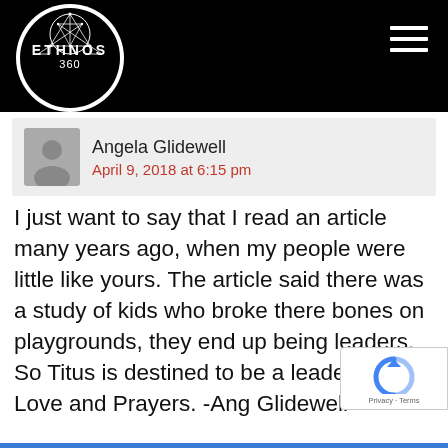[Figure (logo): Ethnos360 logo: white circle with black background circle, geometric triangulated globe icon, text ETHNOS in bold and 360 below]
Ethnos360 website header with hamburger menu
Angela Glidewell
April 9, 2018 at 6:15 pm
I just want to say that I read an article many years ago, when my people were little like yours. The article said there was a study of kids who broke there bones on playgrounds, they end up being leaders. So Titus is destined to be a leader. Lot of Love and Prayers. -Ang Glidewell